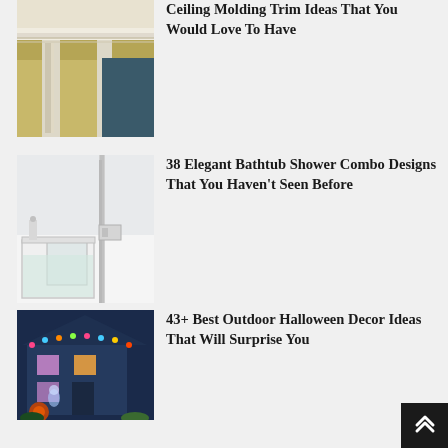[Figure (photo): Photo of ceiling molding trim with white ornate crown molding on a yellow/olive wall]
Ceiling Molding Trim Ideas That You Would Love To Have
[Figure (photo): Photo of an elegant white walk-in bathtub shower combo with glass panel]
38 Elegant Bathtub Shower Combo Designs That You Haven't Seen Before
[Figure (photo): Photo of a house decorated for Halloween with colorful outdoor lights and decorations]
43+ Best Outdoor Halloween Decor Ideas That Will Surprise You